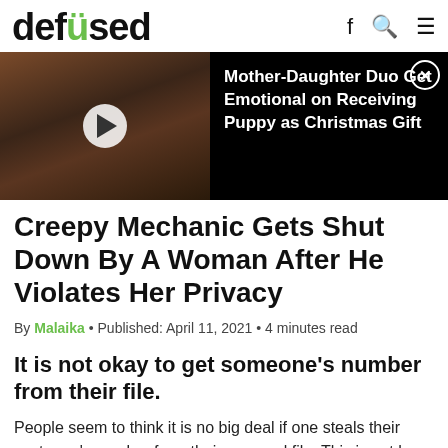defused
[Figure (screenshot): Video thumbnail showing a woman in red plaid opening a Christmas gift, with a video overlay panel showing title 'Mother-Daughter Duo Get Emotional on Receiving Puppy as Christmas Gift' and a close button]
Creepy Mechanic Gets Shut Down By A Woman After He Violates Her Privacy
By Malaika • Published: April 11, 2021 • 4 minutes read
It is not okay to get someone's number from their file.
People seem to think it is no big deal if one steals their customer's number from their personal file. This is not how businesses are run and is it actually against most